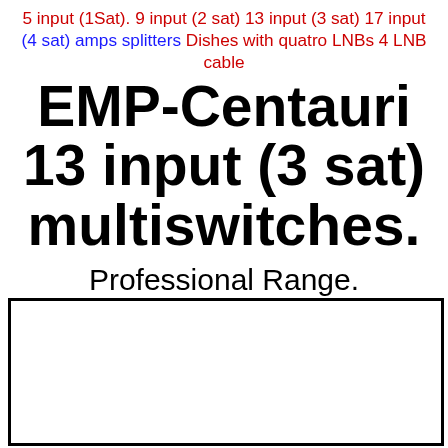5 input (1Sat). 9 input (2 sat) 13 input (3 sat) 17 input (4 sat) amps splitters Dishes with quatro LNBs 4 LNB cable
EMP-Centauri 13 input (3 sat) multiswitches.
Professional Range.
[Figure (other): Empty white box with black border, partially visible at the bottom of the page]